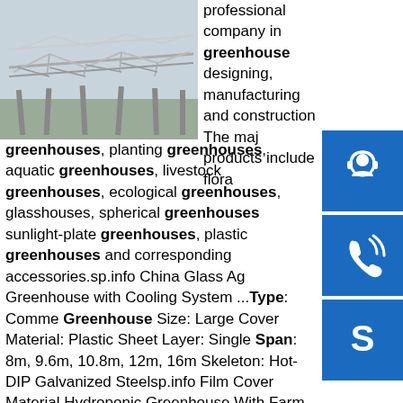[Figure (photo): Metal greenhouse frame structure, skeletal scaffolding of a large greenhouse under construction or disassembled, outdoors]
professional company in greenhouse designing, manufacturing and construction The major products include flora greenhouses, planting greenhouses, aquatic greenhouses, livestock greenhouses, ecological greenhouses, glasshouses, spherical greenhouses sunlight-plate greenhouses, plastic greenhouses and corresponding accessories.sp.info China Glass Ag Greenhouse with Cooling System ...Type: Commercial Greenhouse Size: Large Cover Material: Plastic Sheet Layer: Single Span: 8m, 9.6m, 10.8m, 12m, 16m Skeleton: Hot-DIP Galvanized Steelsp.info Film Cover Material Hydroponic Greenhouse With Farm ...Film Cover Material Agriculture Greenhouse With Farm Irrigation . What is greenhouse? The agricultural intelligent greenhouse control system can remotely obtain the air temperature and humidity, soil moisture temperature, carbon dioxide
[Figure (illustration): Blue icon box with white headset/support agent icon]
[Figure (illustration): Blue icon box with white phone/call icon]
[Figure (illustration): Blue icon box with white Skype logo icon]